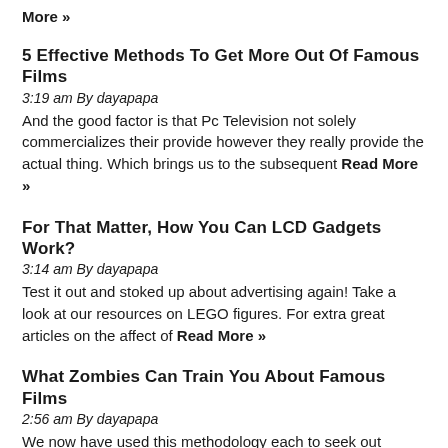More »
5 Effective Methods To Get More Out Of Famous Films
3:19 am By dayapapa
And the good factor is that Pc Television not solely commercializes their provide however they really provide the actual thing. Which brings us to the subsequent Read More »
For That Matter, How You Can LCD Gadgets Work?
3:14 am By dayapapa
Test it out and stoked up about advertising again! Take a look at our resources on LEGO figures. For extra great articles on the affect of Read More »
What Zombies Can Train You About Famous Films
2:56 am By dayapapa
We now have used this methodology each to seek out consultant illustrations for different artists. The major issues one has to search out out are the Read More »
Are You A Phan Of Phantom Of The Opera?